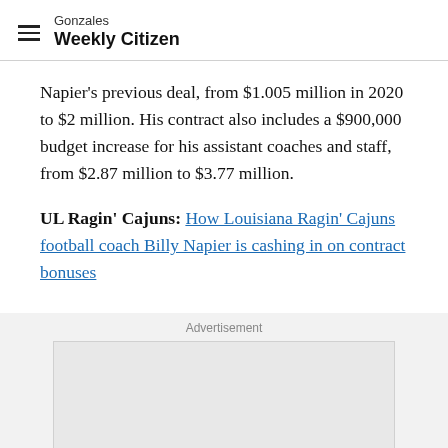Gonzales Weekly Citizen
Napier's previous deal, from $1.005 million in 2020 to $2 million. His contract also includes a $900,000 budget increase for his assistant coaches and staff, from $2.87 million to $3.77 million.
UL Ragin' Cajuns: How Louisiana Ragin' Cajuns football coach Billy Napier is cashing in on contract bonuses
[Figure (other): Advertisement placeholder box]